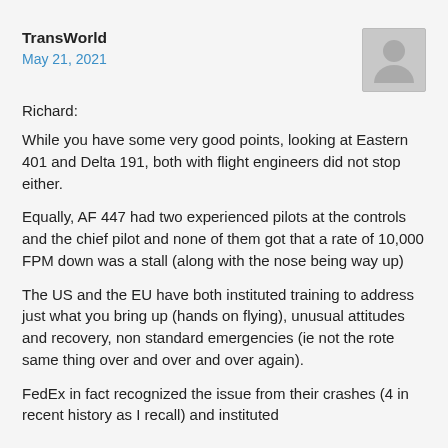TransWorld
May 21, 2021
Richard:
While you have some very good points, looking at Eastern 401 and Delta 191, both with flight engineers did not stop either.
Equally, AF 447 had two experienced pilots at the controls and the chief pilot and none of them got that a rate of 10,000 FPM down was a stall (along with the nose being way up)
The US and the EU have both instituted training to address just what you bring up (hands on flying), unusual attitudes and recovery, non standard emergencies (ie not the rote same thing over and over and over again).
FedEx in fact recognized the issue from their crashes (4 in recent history as I recall) and instituted